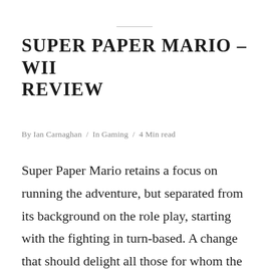SUPER PAPER MARIO – WII REVIEW
By Ian Carnaghan  /  In Gaming  /  4 Min read
Super Paper Mario retains a focus on running the adventure, but separated from its background on the role play, starting with the fighting in turn-based. A change that should delight all those for whom the name of Mario is totally separated from the